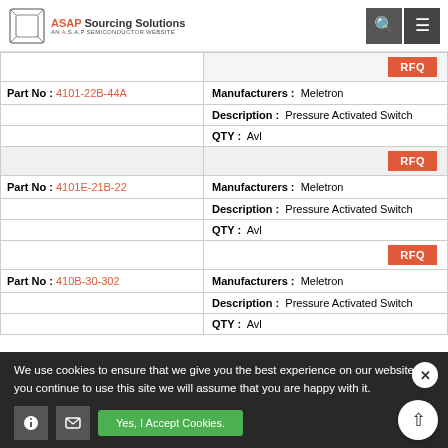ASAP Sourcing Solutions — AN A.S.A.P SEMICONDUCTOR WEBSITE
| Part No | Details |
| --- | --- |
| RFQ |  |
| Part No: 4101-22B-44A | Manufacturers: Meletron |
|  | Description: Pressure Activated Switch |
|  | QTY: Avl |
| RFQ |  |
| Part No: 4101E-21B-22 | Manufacturers: Meletron |
|  | Description: Pressure Activated Switch |
|  | QTY: Avl |
| RFQ |  |
| Part No: 410B-30-302 | Manufacturers: Meletron |
|  | Description: Pressure Activated Switch |
|  | QTY: Avl |
We use cookies to ensure that we give you the best experience on our website. If you continue to use this site we will assume that you are happy with it.
Yes, I Accept Cookies.